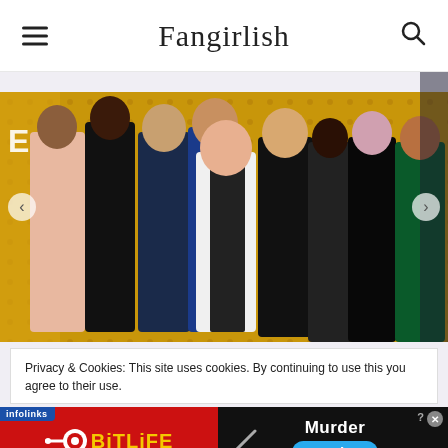Fangirlish
[Figure (photo): Group photo of TV show cast and crew posing at a premiere event on a yellow carpet/backdrop. Multiple people dressed in formal attire including suits and gowns.]
Privacy & Cookies: This site uses cookies. By continuing to use this you agree to their use.
[Figure (infographic): Advertisement split into two halves: left side shows BitLife game ad on red background with yellow logo; right side shows dark background with 'Murder Do it!' text and blue pill button, with infolinks badge and close buttons.]